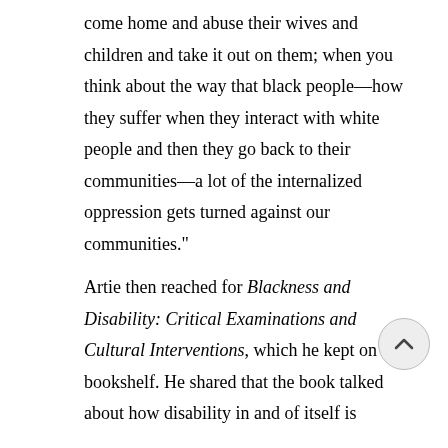come home and abuse their wives and children and take it out on them; when you think about the way that black people—how they suffer when they interact with white people and then they go back to their communities—a lot of the internalized oppression gets turned against our communities."
Artie then reached for Blackness and Disability: Critical Examinations and Cultural Interventions, which he kept on his bookshelf. He shared that the book talked about how disability in and of itself is